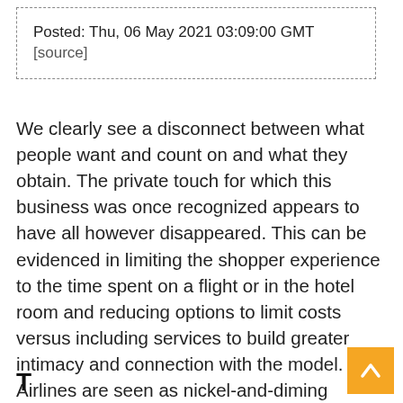Posted: Thu, 06 May 2021 03:09:00 GMT
[source]
We clearly see a disconnect between what people want and count on and what they obtain. The private touch for which this business was once recognized appears to have all however disappeared. This can be evidenced in limiting the shopper experience to the time spent on a flight or in the hotel room and reducing options to limit costs versus including services to build greater intimacy and connection with the model. Airlines are seen as nickel-and-diming prospects for essentials—such as checked luggage and snacks—that had been, till lately, free.
T...